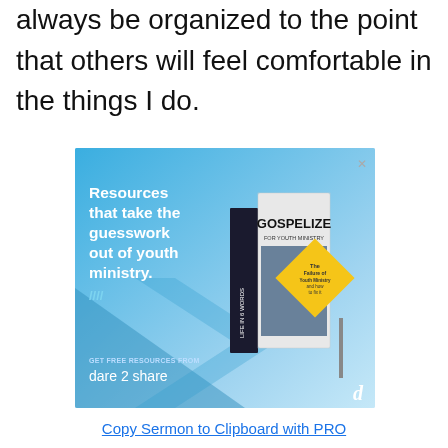always be organized to the point that others will feel comfortable in the things I do.
[Figure (illustration): Advertisement banner for 'dare 2 share' ministry resources. Blue gradient background with white bold text 'Resources that take the guesswork out of youth ministry.' Shows book covers including 'GOSPELIZE' and 'LIFE IN 6 WORDS'. Yellow diamond road sign reading 'The Failure of Youth Ministry and how to fix it'. Small 'd' logo bottom right. Text at bottom: 'GET FREE RESOURCES FROM dare 2 share'.]
Copy Sermon to Clipboard with PRO